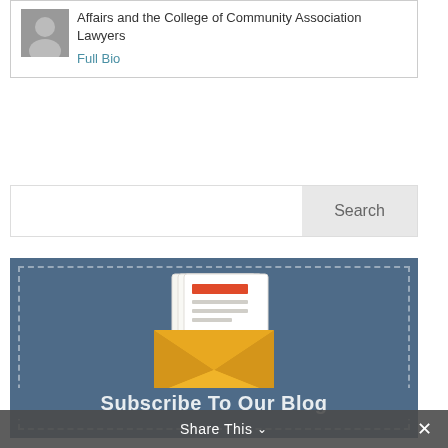Affairs and the College of Community Association Lawyers
Full Bio
[Figure (other): Search bar with text input and Search button]
[Figure (illustration): Blue subscription box with dashed border containing an envelope icon with newsletter pages sticking out]
Subscribe To Our Blog
Share This